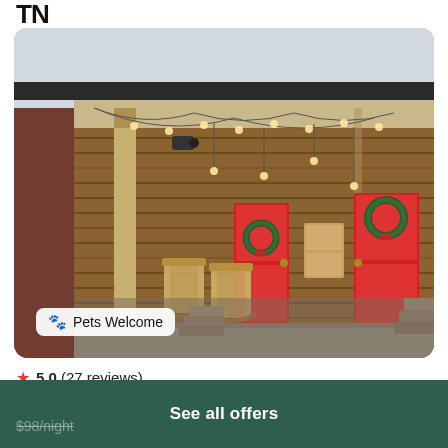TN
[Figure (photo): Rustic wooden cabin porch with string lights, two red doors with wreaths, and two rocking chairs. A 'Pets Welcome' badge overlays the bottom-left of the image.]
★ 5.0 (27 reviews)
This cabin is 1 of 3 properties to rent on the picturesque Muletown Farm.
$98/night
See all offers